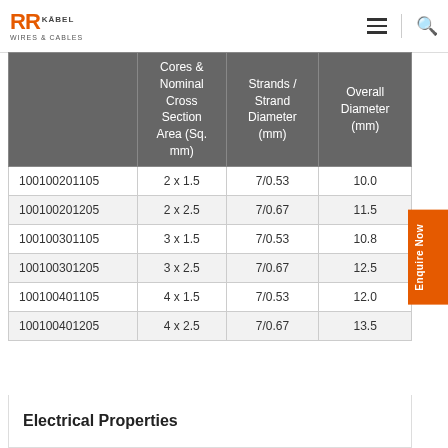RR Kabel Wires & Cables
|  | Cores & Nominal Cross Section Area (Sq. mm) | Strands / Strand Diameter (mm) | Overall Diameter (mm) |
| --- | --- | --- | --- |
| 100100201105 | 2 x 1.5 | 7/0.53 | 10.0 |
| 100100201205 | 2 x 2.5 | 7/0.67 | 11.5 |
| 100100301105 | 3 x 1.5 | 7/0.53 | 10.8 |
| 100100301205 | 3 x 2.5 | 7/0.67 | 12.5 |
| 100100401105 | 4 x 1.5 | 7/0.53 | 12.0 |
| 100100401205 | 4 x 2.5 | 7/0.67 | 13.5 |
Electrical Properties